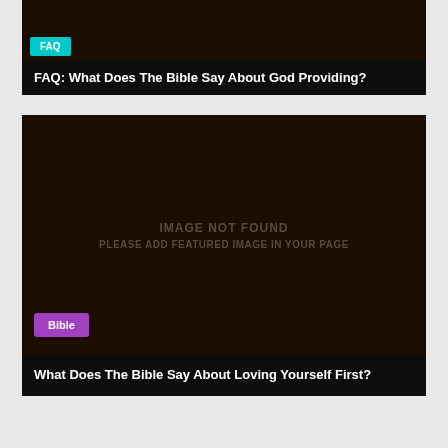[Figure (other): Dark brown card image area with teal tag label]
FAQ: What Does The Bible Say About God Providing?
[Figure (other): Dark brown large card image area with IMAGE NOT FOUND placeholder text and purple Bible tag]
What Does The Bible Say About Loving Yourself First?